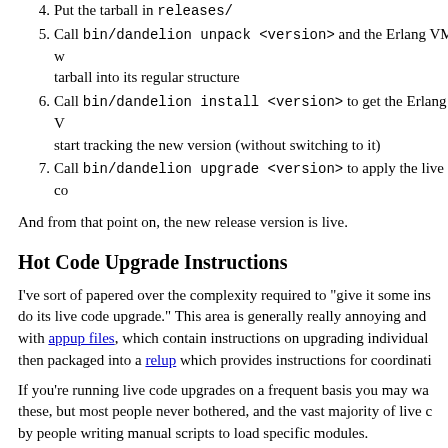4. Put the tarball in releases/
5. Call bin/dandelion unpack <version> and the Erlang VM will unpack the tarball into its regular structure
6. Call bin/dandelion install <version> to get the Erlang VM to start tracking the new version (without switching to it)
7. Call bin/dandelion upgrade <version> to apply the live co...
And from that point on, the new release version is live.
Hot Code Upgrade Instructions
I've sort of papered over the complexity required to "give it some ins... do its live code upgrade." This area is generally really annoying and ... with appup files, which contain instructions on upgrading individual ... then packaged into a relup which provides instructions for coordinati...
If you're running live code upgrades on a frequent basis you may wa... these, but most people never bothered, and the vast majority of live c... by people writing manual scripts to load specific modules.
A very nice solution that also exists is to use Luis Rascão's rebar3 a... will take two releases, compare their code, and auto-generate instru... By using it, most of the annoyances and challenges are automatically...
All you need to do is to make sure all versions are adequately bumpe... line inversions, and package it up. This will be a prime candidate...